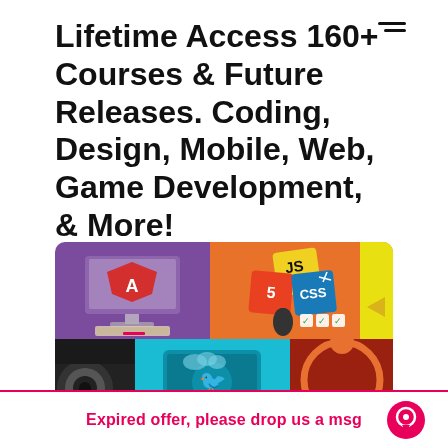Lifetime Access 160+ Courses & Future Releases. Coding, Design, Mobile, Web, Game Development, & More!
[Figure (illustration): Collage of programming/tech course logos: Angular logo on monitor (purple background), JavaScript/HTML5/CSS3 cards (orange background), camera/design tool (dark), monitor with app icon (teal background), Ubuntu logo (brown/red background), yellow section]
Expired offer, please drop us a msg